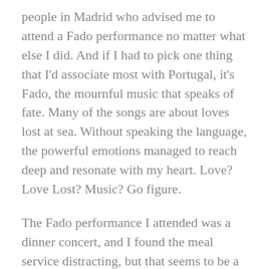people in Madrid who advised me to attend a Fado performance no matter what else I did. And if I had to pick one thing that I'd associate most with Portugal, it's Fado, the mournful music that speaks of fate. Many of the songs are about loves lost at sea. Without speaking the language, the powerful emotions managed to reach deep and resonate with my heart. Love? Love Lost? Music? Go figure.
The Fado performance I attended was a dinner concert, and I found the meal service distracting, but that seems to be a widely available option. The vocalists were backed up by a guitar, a mandolin, and a bass. My favorite was the young